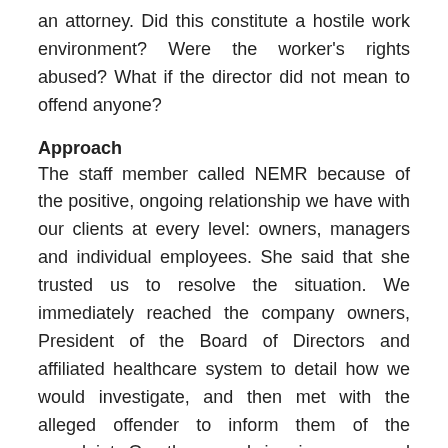an attorney. Did this constitute a hostile work environment? Were the worker's rights abused? What if the director did not mean to offend anyone?
Approach
The staff member called NEMR because of the positive, ongoing relationship we have with our clients at every level: owners, managers and individual employees. She said that she trusted us to resolve the situation. We immediately reached the company owners, President of the Board of Directors and affiliated healthcare system to detail how we would investigate, and then met with the alleged offender to inform them of the complaint. Our three-week inquiry uncovered six incidents corroborated by witnesses, including inappropriate comments/slurs, touching, and improper accusations toward minority staff. The accused supervisor admitted to these allegations and stated that no